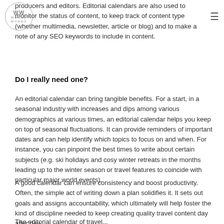WW WORLD WORDS
producers and editors. Editorial calendars are also used to monitor the status of content, to keep track of content type (whether multimedia, newsletter, article or blog) and to make a note of any SEO keywords to include in content.
Do I really need one?
An editorial calendar can bring tangible benefits. For a start, in a seasonal industry with increases and dips among various demographics at various times, an editorial calendar helps you keep on top of seasonal fluctuations. It can provide reminders of important dates and can help identify which topics to focus on and when. For instance, you can pinpoint the best times to write about certain subjects (e.g. ski holidays and cosy winter retreats in the months leading up to the winter season or travel features to coincide with particular major world events).
A good calendar can ensure consistency and boost productivity. Often, the simple act of writing down a plan solidifies it. It sets out goals and assigns accountability, which ultimately will help foster the kind of discipline needed to keep creating quality travel content day after day.
The editorial calendar of travel...